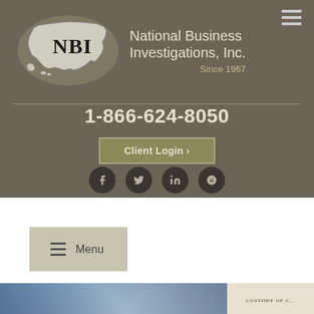[Figure (logo): NBI National Business Investigations, Inc. logo with USA map silhouette and text 'Since 1967']
1-866-624-8050
Client Login ›
[Figure (other): Social media icons row: Facebook, Twitter, LinkedIn, Yelp]
☰ Menu
[Figure (photo): Bottom image strip showing partial photos]